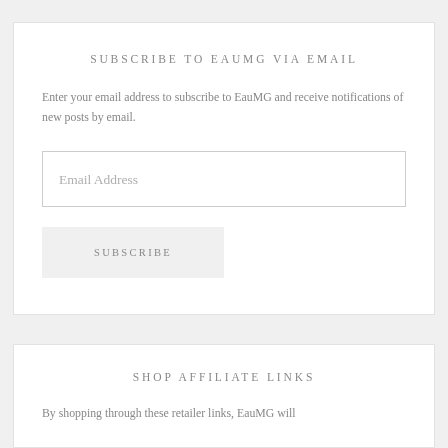SUBSCRIBE TO EAUMG VIA EMAIL
Enter your email address to subscribe to EauMG and receive notifications of new posts by email.
Email Address
SUBSCRIBE
SHOP AFFILIATE LINKS
By shopping through these retailer links, EauMG will